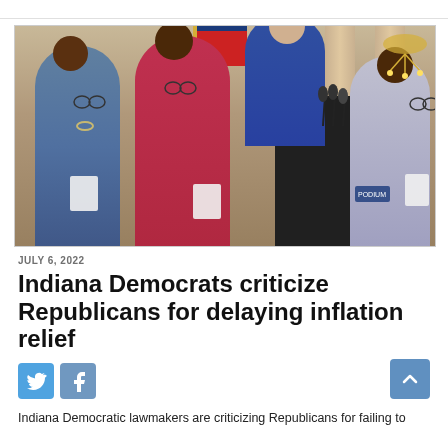[Figure (photo): Four women at a press conference in an ornate hall. One woman speaks at a podium with microphones. An American flag is visible in the background. The setting appears to be an Indiana government building.]
JULY 6, 2022
Indiana Democrats criticize Republicans for delaying inflation relief
Indiana Democratic lawmakers are criticizing Republicans for failing to